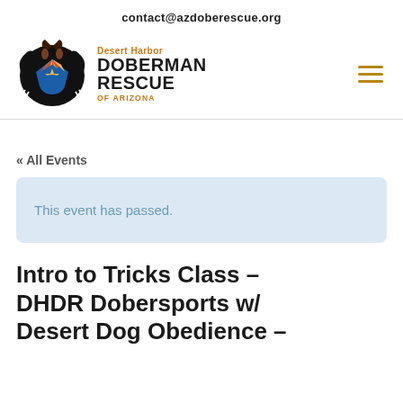contact@azdoberescue.org
[Figure (logo): Desert Harbor Doberman Rescue of Arizona logo — circular emblem with a doberman silhouette and Arizona flag heart motif, with text 'Desert Harbor DOBERMAN RESCUE OF ARIZONA' to the right]
« All Events
This event has passed.
Intro to Tricks Class – DHDR Dobersports w/ Desert Dog Obedience –